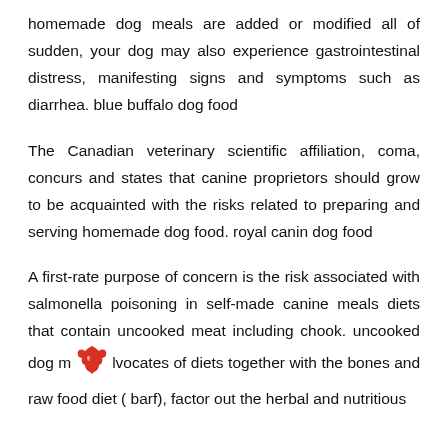homemade dog meals are added or modified all of sudden, your dog may also experience gastrointestinal distress, manifesting signs and symptoms such as diarrhea. blue buffalo dog food
The Canadian veterinary scientific affiliation, coma, concurs and states that canine proprietors should grow to be acquainted with the risks related to preparing and serving homemade dog food. royal canin dog food
A first-rate purpose of concern is the risk associated with salmonella poisoning in self-made canine meals diets that contain uncooked meat including chook. uncooked dog m [icon] lvocates of diets together with the bones and raw food diet ( barf), factor out the herbal and nutritious